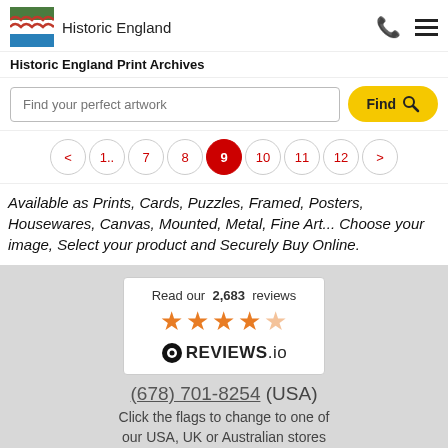Historic England | Historic England Print Archives
Find your perfect artwork [search input] Find [button]
< 1.. 7 8 9 10 11 12 >
Available as Prints, Cards, Puzzles, Framed, Posters, Housewares, Canvas, Mounted, Metal, Fine Art... Choose your image, Select your product and Securely Buy Online.
[Figure (other): Reviews.io widget showing 2,683 reviews with 4.5 star rating and REVIEWS.io logo]
(678) 701-8254 (USA)
Click the flags to change to one of our USA, UK or Australian stores